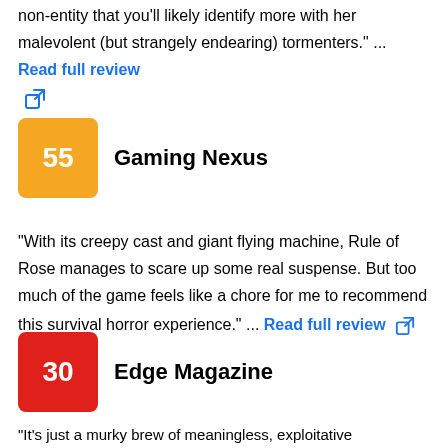non-entity that you'll likely identify more with her malevolent (but strangely endearing) tormenters." ... Read full review
Gaming Nexus
"With its creepy cast and giant flying machine, Rule of Rose manages to scare up some real suspense. But too much of the game feels like a chore for me to recommend this survival horror experience." ... Read full review
Edge Magazine
"It's just a murky brew of meaningless, exploitative dysfunction filling an empty game, and it leaves a bitter taste. [Dec 2006, p.90]"
User Reviews (34)